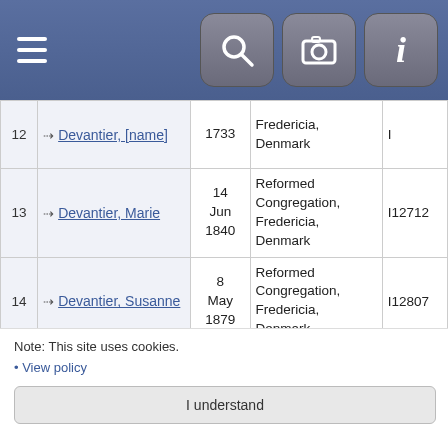[Figure (screenshot): Mobile app header bar with hamburger menu icon on left and three icon buttons (search, camera, info) on right]
| # | Name | Date | Place | ID |
| --- | --- | --- | --- | --- |
| 12 | Devantier, [partial] | 1733 | Fredericia, Denmark | I[partial] |
| 13 | Devantier, Marie | 14 Jun 1840 | Reformed Congregation, Fredericia, Denmark | I12712 |
| 14 | Devantier, Susanne | 8 May 1879 | Reformed Congregation, Fredericia, Denmark | I12807 |
| 15 | Dufour, Sarah | 10 May 1757 | Reformed Congregation, Fredericia, Denmark | I3624 |
| 16 | Dupont, Hans Matthias | 19 Oct 1878 | Reformed Congregation, Fredericia, Denmark | I2330 |
Note: This site uses cookies.
• View policy
I understand